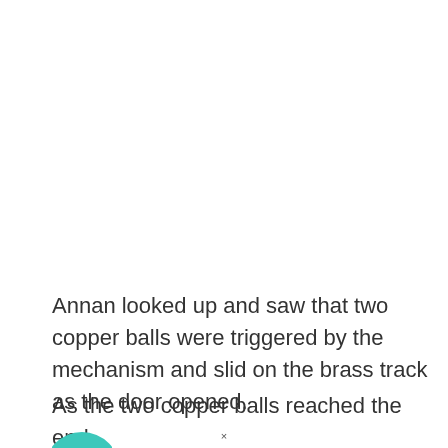Annan looked up and saw that two copper balls were triggered by the mechanism and slid on the brass track as the door opened.
As the two copper balls reached the end
[Figure (illustration): Partial teal/green circle visible at bottom-left, cut off by page edge]